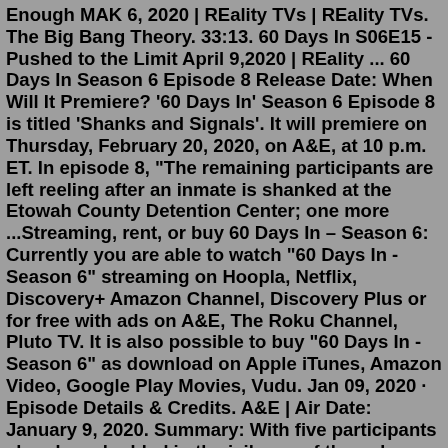Enough MAK 6, 2020 | REality TVs | REality TVs. The Big Bang Theory. 33:13. 60 Days In S06E15 - Pushed to the Limit April 9,2020 | REality ... 60 Days In Season 6 Episode 8 Release Date: When Will It Premiere? '60 Days In' Season 6 Episode 8 is titled 'Shanks and Signals'. It will premiere on Thursday, February 20, 2020, on A&E, at 10 p.m. ET. In episode 8, "The remaining participants are left reeling after an inmate is shanked at the Etowah County Detention Center; one more ...Streaming, rent, or buy 60 Days In – Season 6: Currently you are able to watch "60 Days In - Season 6" streaming on Hoopla, Netflix, Discovery+ Amazon Channel, Discovery Plus or for free with ads on A&E, The Roku Channel, Pluto TV. It is also possible to buy "60 Days In - Season 6" as download on Apple iTunes, Amazon Video, Google Play Movies, Vudu. Jan 09, 2020 · Episode Details & Credits. A&E | Air Date: January 9, 2020. Summary: With five participants already embedded in the jail, one of them drops out as others give the distress signal, leaving the sheriff and his team wondering if